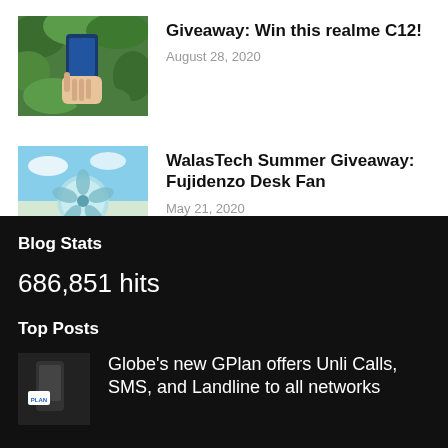[Figure (photo): A hand holding a blue smartphone against a green leafy background]
Giveaway: Win this realme C12!
August 28, 2020
[Figure (photo): A turquoise desk fan on a wooden surface with a beach sky background]
WalasTech Summer Giveaway: Fujidenzo Desk Fan
May 21, 2020
Blog Stats
686,851 hits
Top Posts
[Figure (photo): Small thumbnail showing a smartphone with a plan label]
Globe's new GPlan offers Unli Calls, SMS, and Landline to all networks